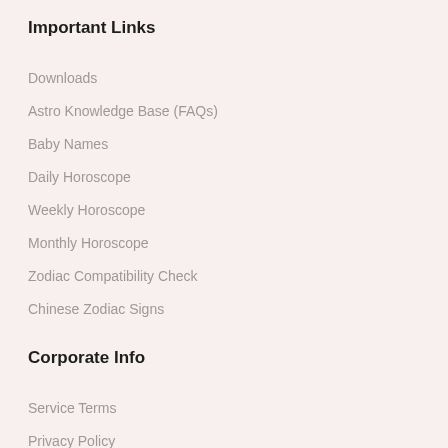Important Links
Downloads
Astro Knowledge Base (FAQs)
Baby Names
Daily Horoscope
Weekly Horoscope
Monthly Horoscope
Zodiac Compatibility Check
Chinese Zodiac Signs
Corporate Info
Service Terms
Privacy Policy
Our Disclaimer